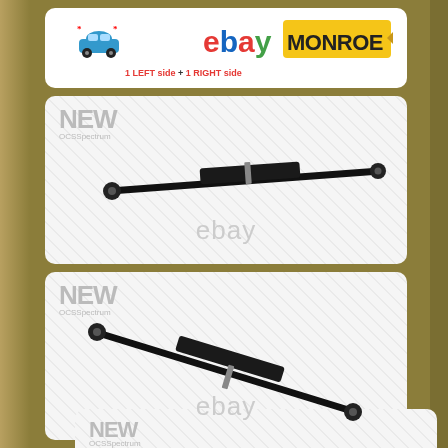[Figure (logo): ebay MONROE logo with car icon and text '1 LEFT side + 1 RIGHT side']
[Figure (photo): Monroe shock absorber product image (NEW OCSSpectrum), horizontal orientation, with eBay watermark]
[Figure (photo): Monroe shock absorber product image (NEW OCSSpectrum), diagonal orientation, with eBay watermark]
[Figure (photo): Partial Monroe shock absorber product card at bottom (NEW label visible)]